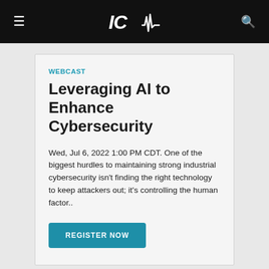ICM (logo) — navigation bar with hamburger menu and search icon
WEBCAST
Leveraging AI to Enhance Cybersecurity
Wed, Jul 6, 2022 1:00 PM CDT. One of the biggest hurdles to maintaining strong industrial cybersecurity isn't finding the right technology to keep attackers out; it's controlling the human factor..
REGISTER NOW